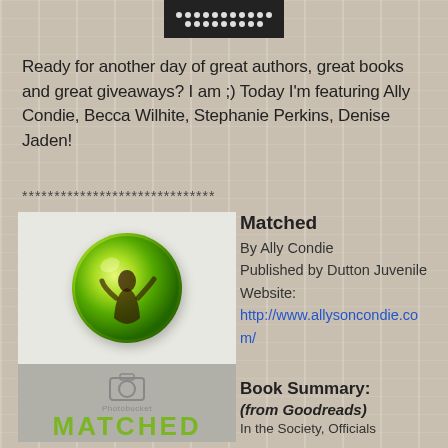[Figure (logo): Dark logo bar with white dots pattern at top center]
Ready for another day of great authors, great books and great giveaways? I am ;) Today I'm featuring Ally Condie, Becca Wilhite, Stephanie Perkins, Denise Jaden!
******************************
[Figure (photo): Book cover for Matched by Ally Condie showing a girl inside a green glowing orb, with Photobucket placeholder in lower section and MATCHED title text]
Matched
By Ally Condie
Published by Dutton Juvenile
Website: http://www.allysoncondie.com/
Book Summary:
(from Goodreads)
In the Society, Officials
MATCHED